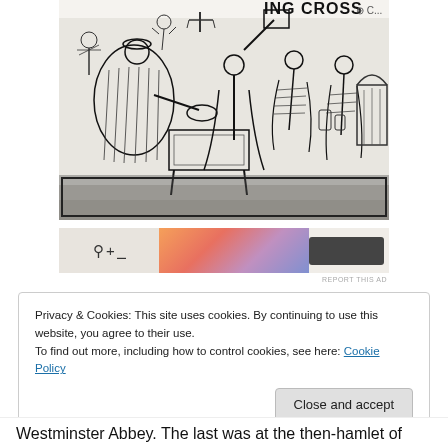[Figure (photo): Black and white illustration/mural showing medieval-style figures in a panoramic display. The mural appears to be on a wall and shows various people in period clothing engaged in different activities. Text visible at top reads 'RING CROSS' partially. The image is a photograph of the mural taken at an angle.]
[Figure (screenshot): Advertisement banner with partial logo showing symbols, orange/pink gradient color block, and a dark button on the right side.]
REPORT THIS AD
Privacy & Cookies: This site uses cookies. By continuing to use this website, you agree to their use.
To find out more, including how to control cookies, see here: Cookie Policy
Close and accept
Westminster Abbey. The last was at the then-hamlet of